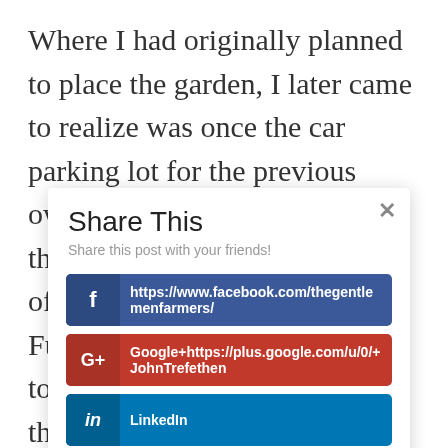Where I had originally planned to place the garden, I later came to realize was once the car parking lot for the previous owners. The dirt is so compact, that in the winter, it holds a lot of water on the surface. Furthermore, my children love to play in this area because it's the flattest
[Figure (screenshot): Share This modal dialog with close button, subtitle 'Share this post with your friends!', and three share buttons: Facebook (https://www.facebook.com/thegentlemenfarmers/), Google+ (Google+https://plus.google.com/u/0/+JohnTrefethen), LinkedIn]
Share This
Share this post with your friends!
https://www.facebook.com/thegentlemenfarmers/
Google+https://plus.google.com/u/0/+JohnTrefethen
LinkedIn